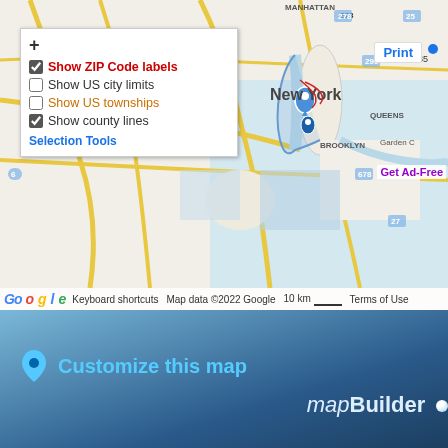[Figure (map): Google Map screenshot showing New York City area including Manhattan, Brooklyn, Queens, Morristown area. Includes a dropdown overlay with map display options: Show ZIP Code labels (checked, red), Show US city limits (unchecked), Show US townships (unchecked, orange), Show county lines (checked). Print button top right. Selection Tools link in blue. Map data ©2022 Google, 10 km scale, Terms of Use footer bar.]
[Figure (infographic): Dark blue gradient banner with location pin icon, text 'Customize this map' in light blue, and 'mapBuilder' in white italic with a blue dot.]
randymajors.org Map Tools ©2022 randymajors.org
Hudson County, New Jersey - ZIP Codes Map
View Google Maps with Hudson County, New Jersey